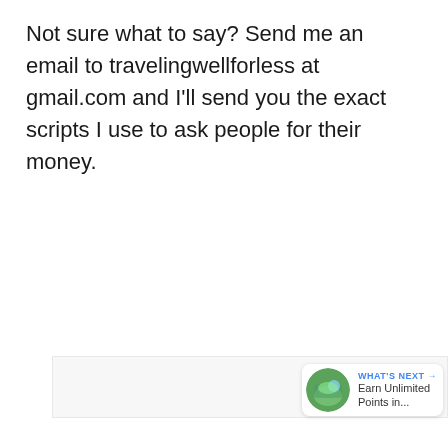Not sure what to say? Send me an email to travelingwellforless at gmail.com and I'll send you the exact scripts I use to ask people for their money.
[Figure (other): Light gray content placeholder area with three small gray dots in the center, a blue heart/like button showing 796 likes, a share button, and a 'What's Next' card showing 'Earn Unlimited Points in...' with a thumbnail image.]